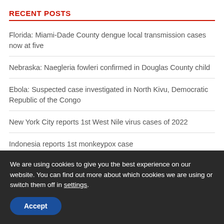RECENT POSTS
Florida: Miami-Dade County dengue local transmission cases now at five
Nebraska: Naegleria fowleri confirmed in Douglas County child
Ebola: Suspected case investigated in North Kivu, Democratic Republic of the Congo
New York City reports 1st West Nile virus cases of 2022
Indonesia reports 1st monkeypox case
We are using cookies to give you the best experience on our website. You can find out more about which cookies we are using or switch them off in settings.